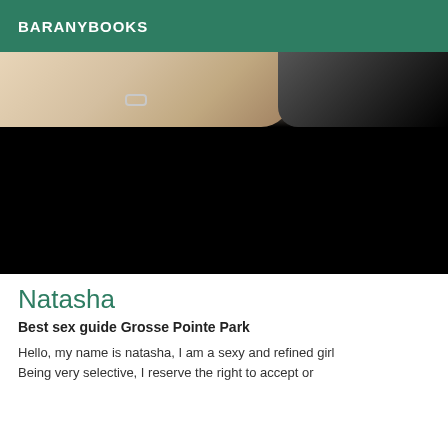BARANYBOOKS
[Figure (photo): Partially visible photo of a person lying on white bedding with a bracelet visible, alongside a dark camera or equipment object. Lower portion of the image is blacked out.]
Natasha
Best sex guide Grosse Pointe Park
Hello, my name is natasha, I am a sexy and refined girl Being very selective, I reserve the right to accept or